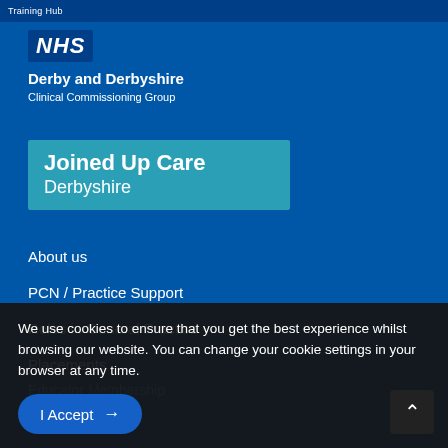Training Hub
[Figure (logo): NHS logo box with 'NHS' text in white on dark blue background]
Derby and Derbyshire
Clinical Commissioning Group
[Figure (logo): Joined Up Care Derbyshire banner in teal/cyan background]
About us
PCN / Practice Support
Roles in General Practice
Placements
Educator Membership
Education Portal
We use cookies to ensure that you get the best experience whilst browsing our website. You can change your cookie settings in your browser at any time.